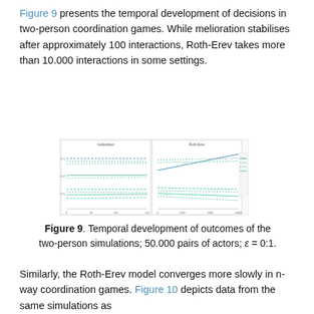Figure 9 presents the temporal development of decisions in two-person coordination games. While melioration stabilises after approximately 100 interactions, Roth-Erev takes more than 10.000 interactions in some settings.
[Figure (line-chart): Two-panel line chart showing temporal development of outcomes in two-person simulations. Left panel and right panel show different settings, with multiple colored lines (blue, green) representing different conditions over time (interaction steps on x-axis).]
Figure 9. Temporal development of outcomes of the two-person simulations; 50.000 pairs of actors; ε = 0:1.
Similarly, the Roth-Erev model converges more slowly in n-way coordination games. Figure 10 depicts data from the same simulations as